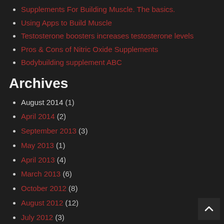Supplements For Building Muscle. The basics.
Using Apps to Build Muscle
Testosterone boosters increases testosterone levels
Pros & Cons of Nitric Oxide Supplements
Bodybuilding supplement ABC
Archives
August 2014 (1)
April 2014 (2)
September 2013 (3)
May 2013 (1)
April 2013 (4)
March 2013 (6)
October 2012 (8)
August 2012 (12)
July 2012 (3)
June 2012 (1)
May 2012 (11)
April 2012 (35)
March 2012 (79)